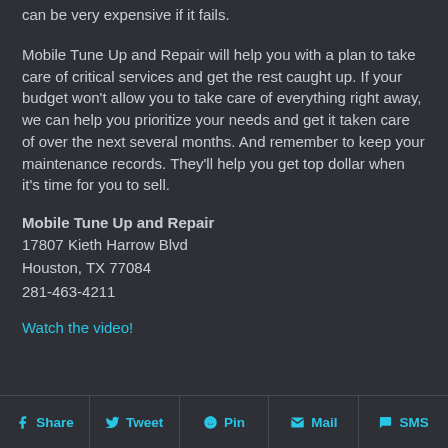can be very expensive if it fails.
Mobile Tune Up and Repair will help you with a plan to take care of critical services and get the rest caught up. If your budget won't allow you to take care of everything right away, we can help you prioritize your needs and get it taken care of over the next several months. And remember to keep your maintenance records. They'll help you get top dollar when it's time for you to sell.
Mobile Tune Up and Repair
17807 Kieth Harrow Blvd
Houston, TX 77084
281-463-4211
Watch the video!
Share  Tweet  Pin  Mail  SMS